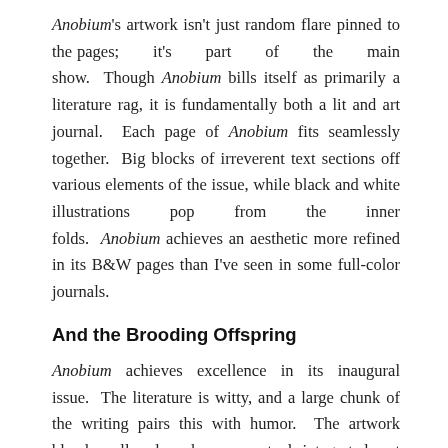Anobium's artwork isn't just random flare pinned to the pages; it's part of the main show. Though Anobium bills itself as primarily a literature rag, it is fundamentally both a lit and art journal. Each page of Anobium fits seamlessly together. Big blocks of irreverent text sections off various elements of the issue, while black and white illustrations pop from the inner folds. Anobium achieves an aesthetic more refined in its B&W pages than I've seen in some full-color journals.
And the Brooding Offspring
Anobium achieves excellence in its inaugural issue. The literature is witty, and a large chunk of the writing pairs this with humor. The artwork blends well and works as an actual, integrated part of the volume, rather than a tacked on extra. Essentially, it's damn good. Copies of Anobium, Vol. 1, and Subscription info still